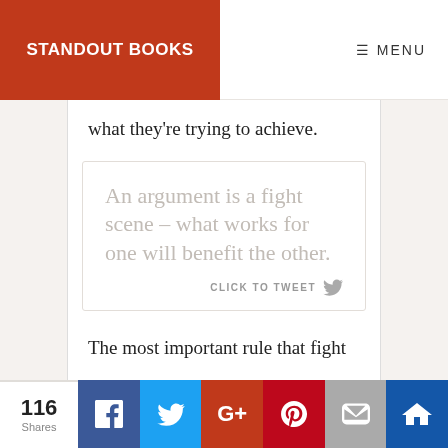STANDOUT BOOKS | MENU
what they're trying to achieve.
An argument is a fight scene – what works for one will benefit the other.
CLICK TO TWEET
The most important rule that fight
116 Shares